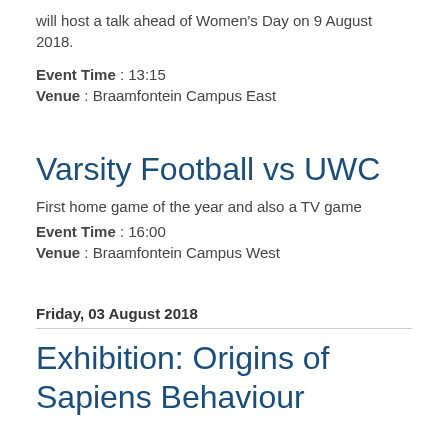will host a talk ahead of Women's Day on 9 August 2018.
Event Time : 13:15
Venue : Braamfontein Campus East
Varsity Football vs UWC
First home game of the year and also a TV game
Event Time : 16:00
Venue : Braamfontein Campus West
Friday, 03 August 2018
Exhibition: Origins of Sapiens Behaviour